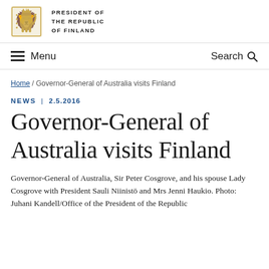PRESIDENT OF THE REPUBLIC OF FINLAND
Menu   Search
Home / Governor-General of Australia visits Finland
NEWS | 2.5.2016
Governor-General of Australia visits Finland
Governor-General of Australia, Sir Peter Cosgrove, and his spouse Lady Cosgrove with President Sauli Niinistö and Mrs Jenni Haukio. Photo: Juhani Kandell/Office of the President of the Republic